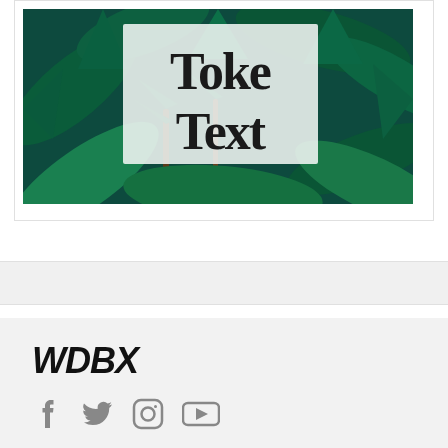[Figure (photo): Cannabis leaves with a white overlay box containing the text 'Toke Text' in large bold serif font]
WDBX
[Figure (other): Social media icons: Facebook, Twitter, Instagram, YouTube]